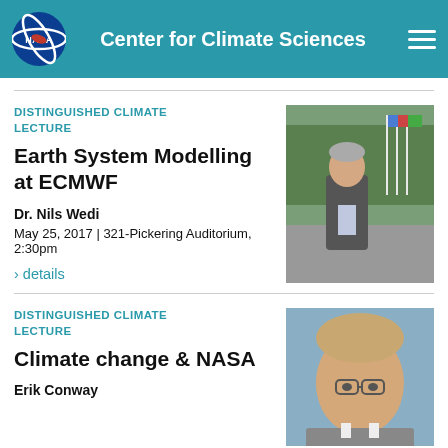Center for Climate Sciences
DISTINGUISHED CLIMATE LECTURE
Earth System Modelling at ECMWF
Dr. Nils Wedi
May 25, 2017 | 321-Pickering Auditorium, 2:30pm
› details
[Figure (photo): Photo of Dr. Nils Wedi standing outdoors near flags and trees, wearing a grey blazer]
DISTINGUISHED CLIMATE LECTURE
Climate change & NASA
Erik Conway
[Figure (photo): Headshot of Erik Conway, a man with glasses and light brown hair]